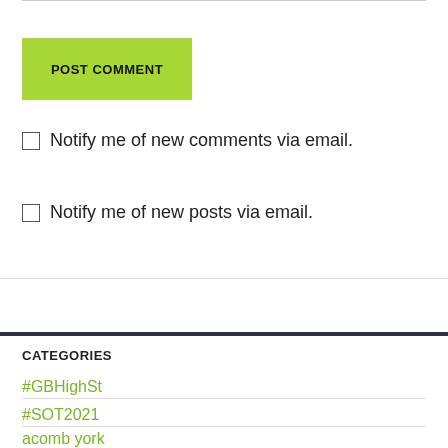POST COMMENT
Notify me of new comments via email.
Notify me of new posts via email.
CATEGORIES
#GBHighSt
#SOT2021
acomb york
Anglesey